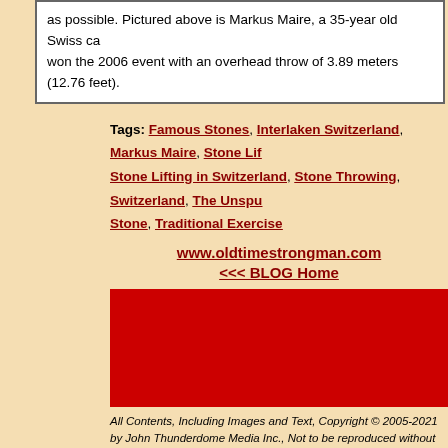as possible. Pictured above is Markus Maire, a 35-year old Swiss ca... won the 2006 event with an overhead throw of 3.89 meters (12.76 feet).
Tags: Famous Stones, Interlaken Switzerland, Markus Maire, Stone Lifting, Stone Lifting in Switzerland, Stone Throwing, Switzerland, The Unspunnen Stone, Traditional Exercise
www.oldtimestrongman.com
<<< BLOG Home
[Figure (other): Red banner advertisement area]
All Contents, Including Images and Text, Copyright © 2005-2021 by John Thunderdome Media Inc., Not to be reproduced without permission, All Rights Reserved.
[Figure (photo): Author photo of John Wood, a bearded young man in a dark shirt]
Author: John Wood. All contents, including images and text, Copyright © 2005-2021 by John Wood and Thunderdome Media Inc. Not to be reproduced without permission. All rights reserved. We will grant permission but please contact us if you would like to use. IMPORTANT: Equipment and books, courses etc. pictured in blog posts are generally not available for sale unless specifically noted.